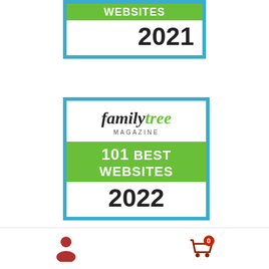[Figure (logo): Family Tree Magazine 101 Best Websites 2021 badge (partially visible at top)]
[Figure (logo): Family Tree Magazine 101 Best Websites 2022 badge]